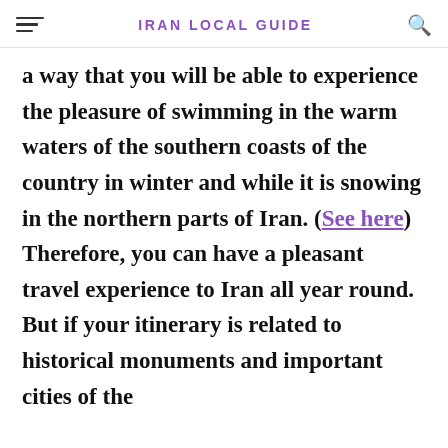IRAN LOCAL GUIDE
a way that you will be able to experience the pleasure of swimming in the warm waters of the southern coasts of the country in winter and while it is snowing in the northern parts of Iran. (See here) Therefore, you can have a pleasant travel experience to Iran all year round. But if your itinerary is related to historical monuments and important cities of the